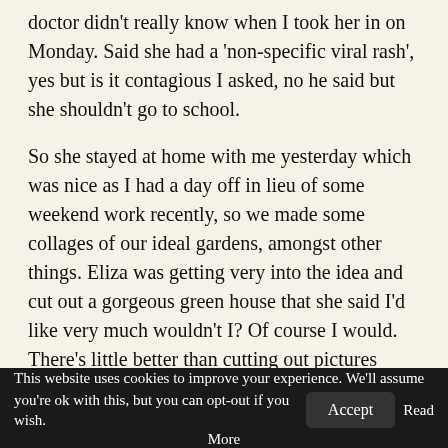doctor didn't really know when I took her in on Monday. Said she had a 'non-specific viral rash', yes but is it contagious I asked, no he said but she shouldn't go to school.
So she stayed at home with me yesterday which was nice as I had a day off in lieu of some weekend work recently, so we made some collages of our ideal gardens, amongst other things. Eliza was getting very into the idea and cut out a gorgeous green house that she said I'd like very much wouldn't I? Of course I would. There's little better than cutting out pictures from magazines and sticking them on a piece of card to create a fantasy world. I used to love making collages as a child. Tearing up my
This website uses cookies to improve your experience. We'll assume you're ok with this, but you can opt-out if you wish. Accept Read More